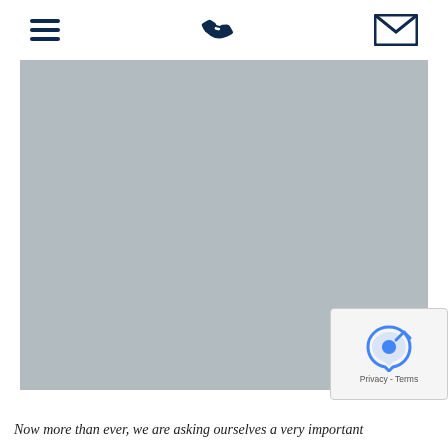[hamburger menu icon] [phone icon] [email icon]
[Figure (photo): Large gray placeholder image occupying most of the page, representing a hero/banner image on an insurance or financial services website.]
Now more than ever, we are asking ourselves a very important